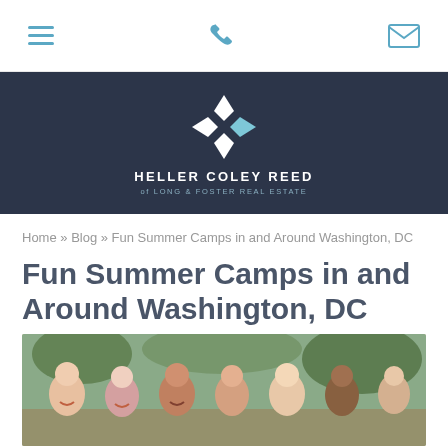Navigation bar with hamburger menu, phone icon, and email icon
[Figure (logo): Heller Coley Reed of Long & Foster Real Estate logo — white star/pinwheel shape with light blue accent on dark navy background]
Home » Blog » Fun Summer Camps in and Around Washington, DC
Fun Summer Camps in and Around Washington, DC
[Figure (photo): Group of young children laughing and smiling together outdoors at a summer camp setting]